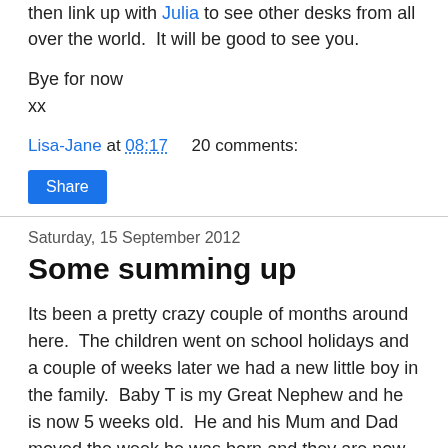then link up with Julia to see other desks from all over the world.  It will be good to see you.
Bye for now
xx
Lisa-Jane at 08:17    20 comments:
Share
Saturday, 15 September 2012
Some summing up
Its been a pretty crazy couple of months around here.  The children went on school holidays and a couple of weeks later we had a new little boy in the family.  Baby T is my Great Nephew and he is now 5 weeks old.  He and his Mum and Dad moved the week he was born and they are now sadly nearly 3 hours away so the poor little sausage gets the life squeezed out of him when he visits as we take turns to hold him.